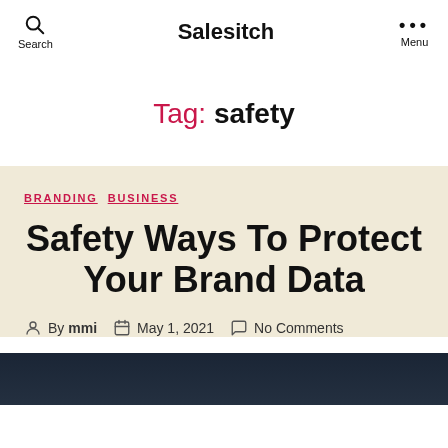Salesitch
Tag: safety
BRANDING  BUSINESS
Safety Ways To Protect Your Brand Data
By mmi  May 1, 2021  No Comments
[Figure (photo): Dark background image partially visible at bottom of page]